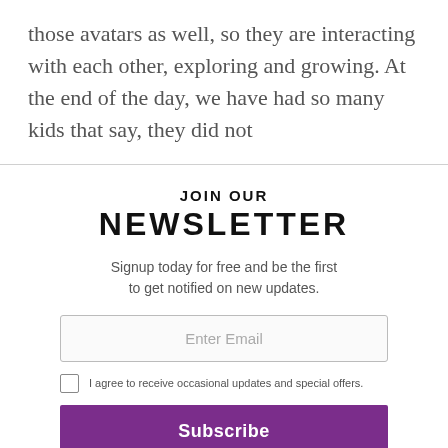those avatars as well, so they are interacting with each other, exploring and growing. At the end of the day, we have had so many kids that say, they did not
JOIN OUR NEWSLETTER
Signup today for free and be the first to get notified on new updates.
Enter Email
I agree to receive occasional updates and special offers.
Subscribe
Privacy Policy
No thanks